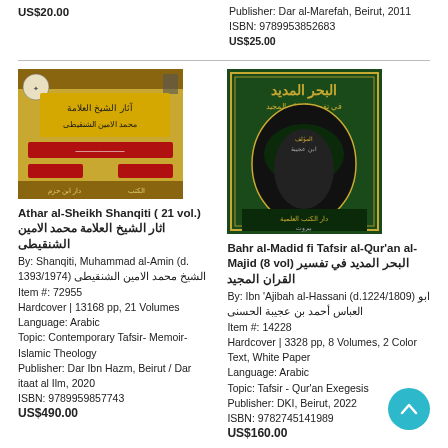US$20.00
Publisher: Dar al-Marefah, Beirut, 2011
ISBN: 9789953852683
US$25.00
[Figure (photo): Book cover of Athar al-Sheikh Shanqiti, gold and red design with Arabic text]
Athar al-Sheikh Shanqiti ( 21 vol.) اثار الشيخ العلامة محمد الامين الشنقيطى
By: Shanqiti, Muhammad al-Amin (d. 1393/1974) الشيخ محمد الامين الشنقيطى
Item #: 72955
Hardcover | 13168 pp, 21 Volumes
Language: Arabic
Topic: Contemporary Tafsir- Memoir- Islamic Theology
Publisher: Dar Ibn Hazm, Beirut / Dar itaat al Ilm, 2020
ISBN: 9789959857743
US$490.00
[Figure (photo): Book cover of Bahr al-Madid fi Tafsir al-Quran al-Majid, dark green with Arabic calligraphy]
Bahr al-Madid fi Tafsir al-Qur'an al-Majid (8 vol) البحر المديد في تفسير القران المجيد
By: Ibn 'Ajibah al-Hassani (d.1224/1809) ابو العباس أحمد بن عجيبة الحسنى
Item #: 14228
Hardcover | 3328 pp, 8 Volumes, 2 Color Text, White Paper
Language: Arabic
Topic: Tafsir - Qur'an Exegesis
Publisher: DKI, Beirut, 2022
ISBN: 9782745141989
US$160.00